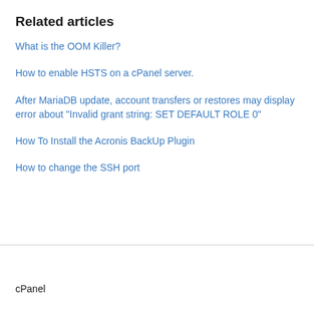Related articles
What is the OOM Killer?
How to enable HSTS on a cPanel server.
After MariaDB update, account transfers or restores may display error about "Invalid grant string: SET DEFAULT ROLE 0"
How To Install the Acronis BackUp Plugin
How to change the SSH port
cPanel